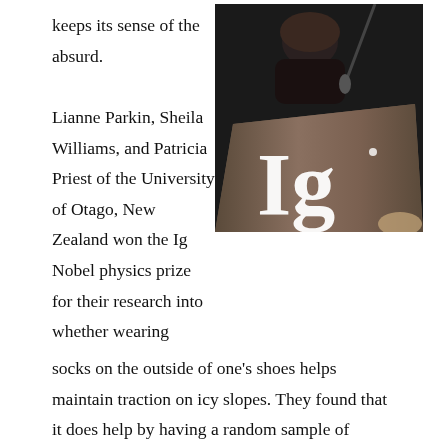keeps its sense of the absurd. Lianne Parkin, Sheila Williams, and Patricia Priest of the University of Otago, New Zealand won the Ig Nobel physics prize for their research into whether wearing socks on the outside of one's shoes helps maintain traction on icy slopes. They found that it does help by having a random sample of students at their university wear socks externally. They compare the number of times the students wearing the socks externally fell on the icy hills with the number of times students fell who were wearing uncovered shoes.
[Figure (photo): A person standing at a dark wooden lectern/podium with a large 'Ig' logo on the front, presumably at an Ig Nobel prize ceremony. A microphone is visible. The scene is dimly lit.]